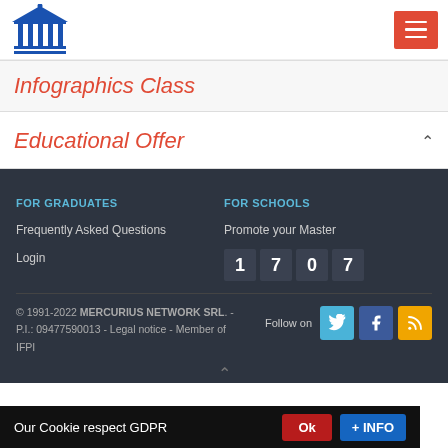[Figure (logo): Blue building/institution icon (columns with triangle roof)]
[Figure (other): Red hamburger menu button with three white lines]
Infographics Class
Educational Offer
FOR GRADUATES
Frequently Asked Questions
Login
FOR SCHOOLS
Promote your Master
1707
© 1991-2022 MERCURIUS NETWORK SRL. - P.I.: 09477590013 - Legal notice - Member of IFPI
Follow on
Our Cookie respect GDPR